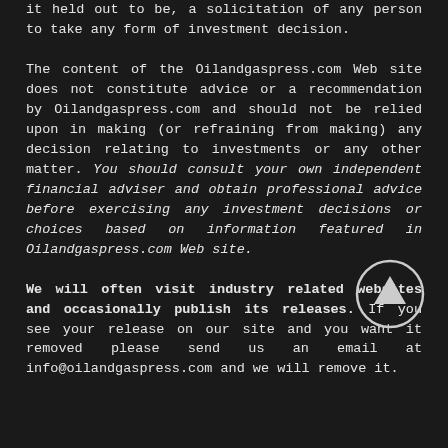it held out to be, a solicitation of any person to take any form of investment decision. The content of the Oilandgaspress.com Web site does not constitute advice or a recommendation by Oilandgaspress.com and should not be relied upon in making (or refraining from making) any decision relating to investments or any other matter. You should consult your own independent financial adviser and obtain professional advice before exercising any investment decisions or choices based on information featured in Oilandgaspress.com Web site. We will often visit industry related websites and occasionally publish its releases. If you see your release on our site and you want it removed please send us an email at info@oilandgaspress.com and we will remove it.
[Figure (other): Circular back-to-top arrow button, white arrow pointing upward inside a circle outline on dark background]